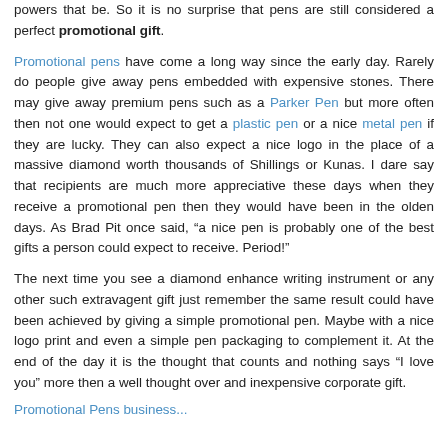powers that be. So it is no surprise that pens are still considered a perfect promotional gift.
Promotional pens have come a long way since the early day. Rarely do people give away pens embedded with expensive stones. There may give away premium pens such as a Parker Pen but more often then not one would expect to get a plastic pen or a nice metal pen if they are lucky. They can also expect a nice logo in the place of a massive diamond worth thousands of Shillings or Kunas. I dare say that recipients are much more appreciative these days when they receive a promotional pen then they would have been in the olden days. As Brad Pit once said, “a nice pen is probably one of the best gifts a person could expect to receive. Period!”
The next time you see a diamond enhance writing instrument or any other such extravagent gift just remember the same result could have been achieved by giving a simple promotional pen. Maybe with a nice logo print and even a simple pen packaging to complement it. At the end of the day it is the thought that counts and nothing says “I love you” more then a well thought over and inexpensive corporate gift.
Promotional Pens business...